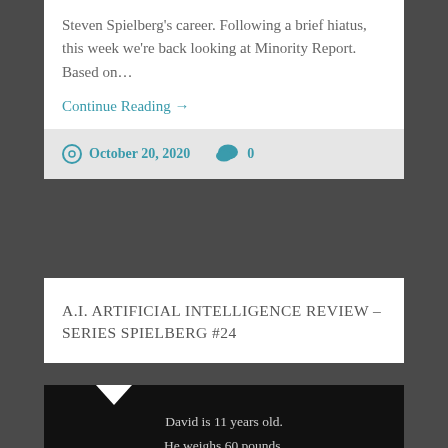Steven Spielberg's career. Following a brief hiatus, this week we're back looking at Minority Report. Based on...
Continue Reading →
October 20, 2020   0
A.I. Artificial Intelligence Review – Series Spielberg #24
David is 11 years old.
He weighs 60 pounds.
He is 4 feet, 6 inches tall.